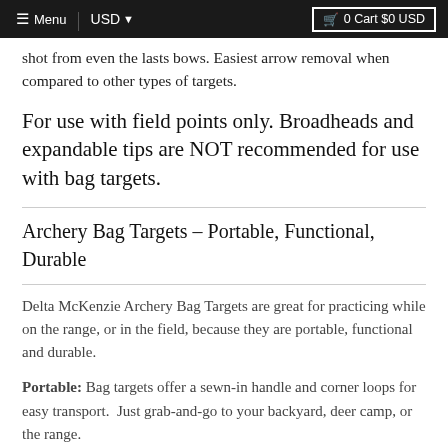≡ Menu  USD ▾  🛒 0 Cart $0 USD
shot from even the lasts bows. Easiest arrow removal when compared to other types of targets.
For use with field points only. Broadheads and expandable tips are NOT recommended for use with bag targets.
Archery Bag Targets – Portable, Functional, Durable
Delta McKenzie Archery Bag Targets are great for practicing while on the range, or in the field, because they are portable, functional and durable.
Portable: Bag targets offer a sewn-in handle and corner loops for easy transport.  Just grab-and-go to your backyard, deer camp, or the range.